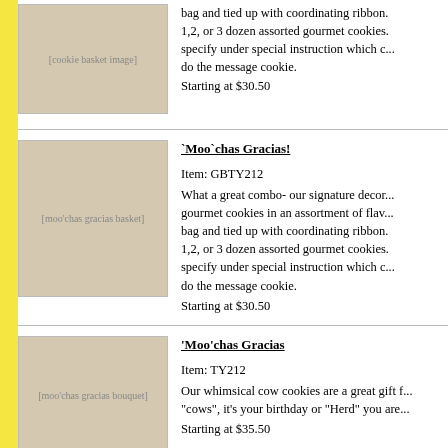[Figure (photo): Cookie gift basket with assorted gourmet cookies, pink ribbons and decorations]
bag and tied up with coordinating ribbon. 1,2, or 3 dozen assorted gourmet cookies. specify under special instruction which c... do the message cookie. Starting at $30.50
[Figure (photo): Moo'chas Gracias cookie basket with cow decorated cookies, heart cookie, and pink beaded ribbons]
`Moo`chas Gracias!
Item: GBTY212
What a great combo- our signature decor... gourmet cookies in an assortment of flav... bag and tied up with coordinating ribbon. 1,2, or 3 dozen assorted gourmet cookies. specify under special instruction which c... do the message cookie.
Starting at $30.50
[Figure (photo): Moo'chas Gracias cow cookie bouquet arrangement with multiple cow cookies on sticks]
'Moo'chas Gracias
Item: TY212
Our whimsical cow cookies are a great gift f... "cows", it's your birthday or "Herd" you are...
Starting at $35.50